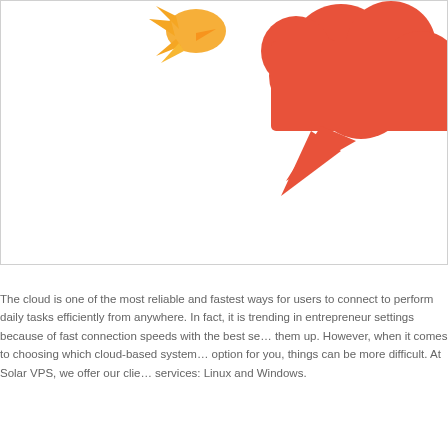[Figure (illustration): Partial illustration showing an orange/yellow bird figure on the left and a large coral/orange speech bubble cloud shape on the right, against a white background with a light gray border around the image area.]
The cloud is one of the most reliable and fastest ways for users to connect to perform daily tasks efficiently from anywhere. In fact, it is trending in entrepreneur settings because of fast connection speeds with the best services setting them up. However, when it comes to choosing which cloud-based system is the best option for you, things can be more difficult. At Solar VPS, we offer our clients two services: Linux and Windows.